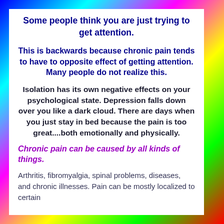Some people think you are just trying to get attention.
This is backwards because chronic pain tends to have to opposite effect of getting attention. Many people do not realize this.
Isolation has its own negative effects on your psychological state. Depression falls down over you like a dark cloud. There are days when you just stay in bed because the pain is too great....both emotionally and physically.
Chronic pain can be caused by all kinds of things.
Arthritis, fibromyalgia, spinal problems, diseases, and chronic illnesses. Pain can be mostly localized to certain